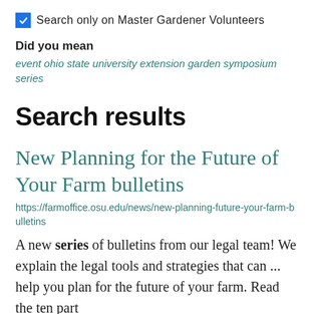Search only on Master Gardener Volunteers
Did you mean
event ohio state university extension garden symposium series
Search results
New Planning for the Future of Your Farm bulletins
https://farmoffice.osu.edu/news/new-planning-future-your-farm-bulletins
A new series of bulletins from our legal team! We explain the legal tools and strategies that can ... help you plan for the future of your farm. Read the ten part